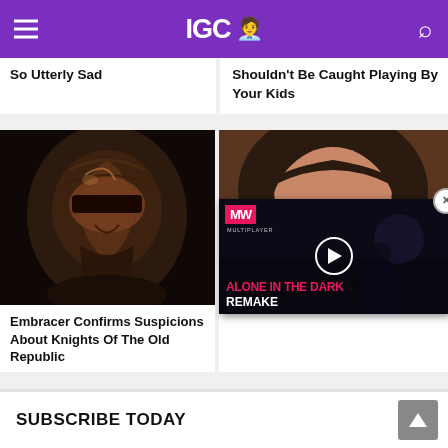IGC
So Utterly Sad
Shouldn't Be Caught Playing By Your Kids
[Figure (photo): Close-up of a sci-fi armored character's helmet/face, dark and dramatic lighting, reddish-brown metallic tones]
Embracer Confirms Suspicions About Knights Of The Old Republic
[Figure (photo): Close-up of a young woman with brown hair, heavy eye makeup, and flushed cheeks looking at camera]
[Figure (screenshot): MW (Multiplayer Wars) video ad overlay showing Alone in the Dark Remake with play button]
SUBSCRIBE TODAY